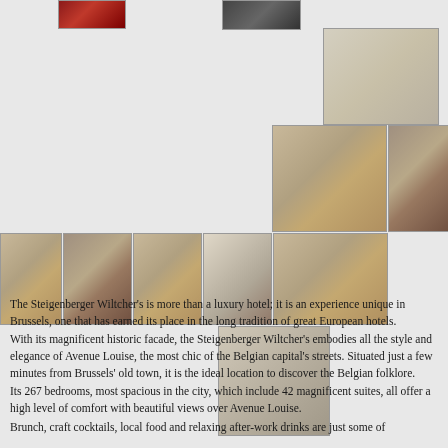[Figure (photo): Collection of hotel interior and room photos showing conference/meeting rooms, guest rooms, and banquet halls of Steigenberger Wiltcher's hotel in Brussels]
The Steigenberger Wiltcher's is more than a luxury hotel; it is an experience unique in Brussels, one that has earned its place in the long tradition of great European hotels. With its magnificent historic facade, the Steigenberger Wiltcher's embodies all the style and elegance of Avenue Louise, the most chic of the Belgian capital's streets. Situated just a few minutes from Brussels' old town, it is the ideal location to discover the Belgian folklore.
Its 267 bedrooms, most spacious in the city, which include 42 magnificent suites, all offer a high level of comfort with beautiful views over Avenue Louise.
Brunch, craft cocktails, local food and relaxing after-work drinks are just some of